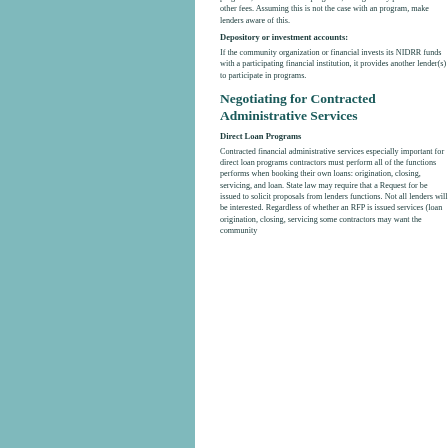programs, such as the SBA programs, loan guaranty premiums and other fees. Assuming this is not the case with an program, make lenders aware of this.
Depository or investment accounts:
If the community organization or financial invests its NIDRR funds with a participating financial institution, it provides another lender(s) to participate in programs.
Negotiating for Contracted Administrative Services
Direct Loan Programs
Contracted financial administrative services especially important for direct loan programs contractors must perform all of the functions performs when booking their own loans: origination, closing, servicing, and loan. State law may require that a Request for be issued to solicit proposals from lenders functions. Not all lenders will be interested. Regardless of whether an RFP is issued services (loan origination, closing, servicing some contractors may want the community